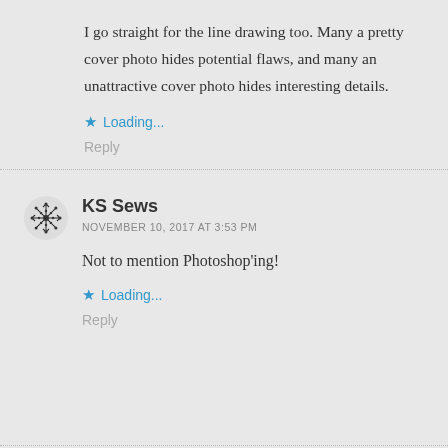I go straight for the line drawing too. Many a pretty cover photo hides potential flaws, and many an unattractive cover photo hides interesting details.
Loading...
Reply
KS Sews
NOVEMBER 10, 2017 AT 3:53 PM
Not to mention Photoshop'ing!
Loading...
Reply